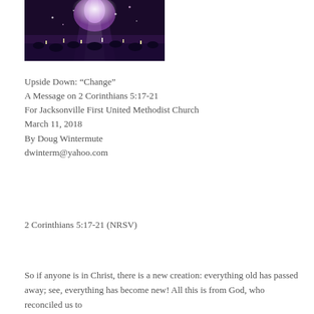[Figure (photo): A crowd of people at what appears to be a worship or concert event, with bright stage lighting and people raising their hands or phones.]
Upside Down: “Change”
A Message on 2 Corinthians 5:17-21
For Jacksonville First United Methodist Church
March 11, 2018
By Doug Wintermute
dwinterm@yahoo.com
2 Corinthians 5:17-21 (NRSV)
So if anyone is in Christ, there is a new creation: everything old has passed away; see, everything has become new! All this is from God, who reconciled us to